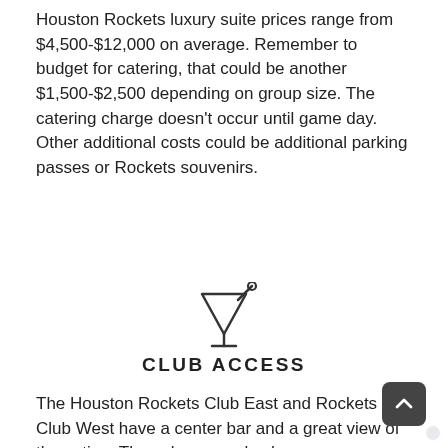Houston Rockets luxury suite prices range from $4,500-$12,000 on average. Remember to budget for catering, that could be another $1,500-$2,500 depending on group size. The catering charge doesn't occur until game day. Other additional costs could be additional parking passes or Rockets souvenirs.
[Figure (illustration): Cocktail glass with straw icon (club access symbol)]
CLUB ACCESS
The Houston Rockets Club East and Rockets Club West have a center bar and a great view of the action. These lounges also have many plasma TVs for your convenience. Additionally, Rockets suite ticket holders will have access to the Red & White restaurant where advance reservations are recommended.
[Figure (illustration): T-shirt icon (dress code symbol)]
DRESS CODE